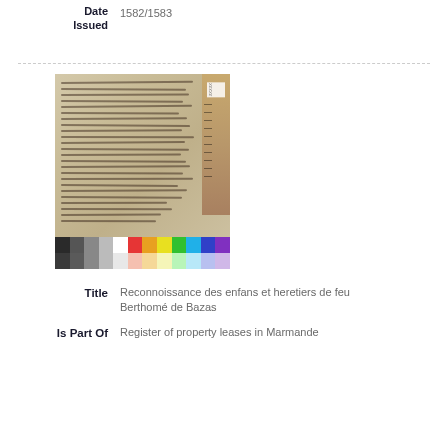Date Issued	1582/1583
[Figure (photo): Scanned manuscript page with handwritten text in old French script, accompanied by a ruler on the right side and a color calibration bar at the bottom.]
Title	Reconnoissance des enfans et heretiers de feu Berthomé de Bazas
Is Part Of	Register of property leases in Marmande